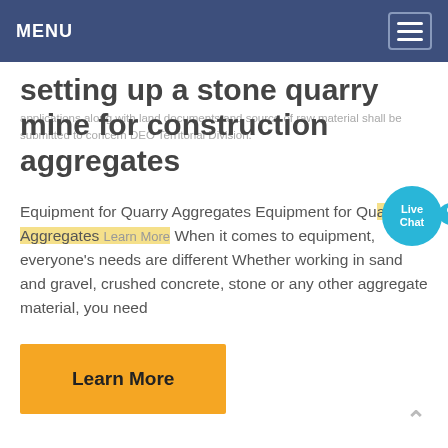MENU
setting up a stone quarry mine for construction aggregates
applications along with land documents and source of raw material shall be submitted to concern DEO Territorial Division.
Equipment for Quarry Aggregates Equipment for Quarry Aggregates When it comes to equipment, everyone's needs are different Whether working in sand and gravel, crushed concrete, stone or any other aggregate material, you need
Learn More